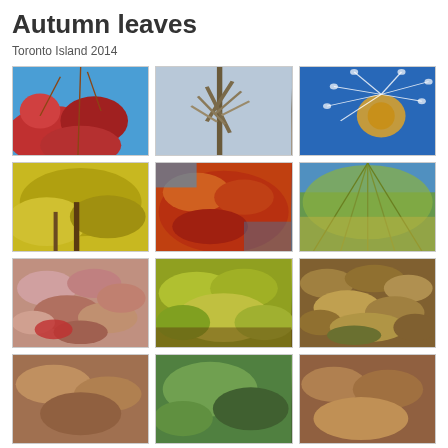Autumn leaves
Toronto Island 2014
[Figure (photo): Red autumn leaves against blue sky]
[Figure (photo): Bare tree branches against sky]
[Figure (photo): Dandelion seeds floating in blue sky]
[Figure (photo): Yellow autumn tree canopy]
[Figure (photo): Orange-red autumn leaves close-up]
[Figure (photo): Green willow tree branches]
[Figure (photo): Fallen pink and red leaves on ground]
[Figure (photo): Yellow-green leaves cluster]
[Figure (photo): Brown fallen autumn leaves]
[Figure (photo): Partial autumn leaves on ground - bottom row]
[Figure (photo): Partial green leaves - bottom row]
[Figure (photo): Partial autumn leaves - bottom row]